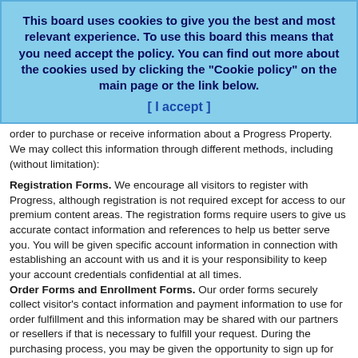This board uses cookies to give you the best and most relevant experience. To use this board this means that you need accept the policy. You can find out more about the cookies used by clicking the "Cookie policy" on the main page or the link below.
[ I accept ]
order to purchase or receive information about a Progress Property. We may collect this information through different methods, including (without limitation):
Registration Forms. We encourage all visitors to register with Progress, although registration is not required except for access to our premium content areas. The registration forms require users to give us accurate contact information and references to help us better serve you. You will be given specific account information in connection with establishing an account with us and it is your responsibility to keep your account credentials confidential at all times.
Order Forms and Enrollment Forms. Our order forms securely collect visitor's contact information and payment information to use for order fulfillment and this information may be shared with our partners or resellers if that is necessary to fulfill your request. During the purchasing process, you may be given the opportunity to sign up for future e-mailings regarding our products, services, and promotions.
Registration Profile. You may also be given the option of registering a profile with us to store your name, purchase history, and billing information to make it easier for you to shop and purchase products/services from us in the future. You may change/cancel information relating to your profile online at any time.
Online forums and social networks. Any Personal Information that you choose to submit to one of our online forums or social networks may be read, collected, or used by others who visit these community areas. You should carefully consider whether you wish to submit Personal Information to these forums or social networks and should tailor any